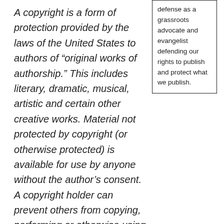A copyright is a form of protection provided by the laws of the United States to authors of “original works of authorship.” This includes literary, dramatic, musical, artistic and certain other creative works. Material not protected by copyright (or otherwise protected) is available for use by anyone without the author’s consent. A copyright holder can prevent others from copying, performing or otherwise using the work without his or her consent.
defense as a grassroots advocate and evangelist defending our rights to publish and protect what we publish.
DEFINITION OF A COPYRIGHT – LEGAL ZOOM
Copyright laws reach far beyond the United States, but this is the definition as it applies to that country. In fact,